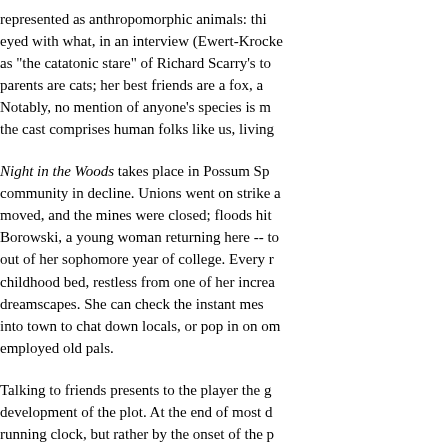represented as anthropomorphic animals: thi eyed with what, in an interview (Ewert-Krocke as "the catatonic stare" of Richard Scarry's to parents are cats; her best friends are a fox, a Notably, no mention of anyone's species is m the cast comprises human folks like us, living
Night in the Woods takes place in Possum Sp community in decline. Unions went on strike a moved, and the mines were closed; floods hit Borowski, a young woman returning here -- to out of her sophomore year of college. Every r childhood bed, restless from one of her increa dreamscapes. She can check the instant mes into town to chat down locals, or pop in on om employed old pals.
Talking to friends presents to the player the g development of the plot. At the end of most d running clock, but rather by the onset of the p ask each of her closest friends what their pla not, invite herself to tag along. Thus, within a players choose whether to loot the junkyard f Gregg the anarcho-punk fox, or to wander the Bea the goth alligator. Each option -- each "fr of the others. You can't please everyone. Yet, that her old friends have grown up without he
Things worsen when, on the night of the ann